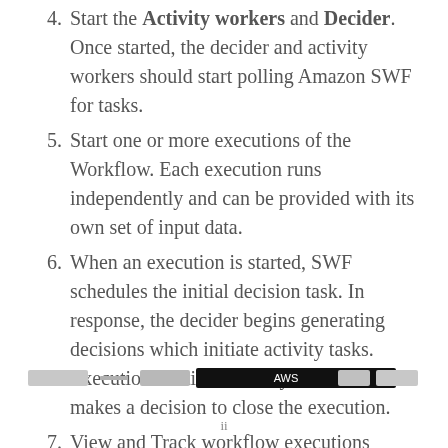4. Start the Activity workers and Decider. Once started, the decider and activity workers should start polling Amazon SWF for tasks.
5. Start one or more executions of the Workflow. Each execution runs independently and can be provided with its own set of input data.
6. When an execution is started, SWF schedules the initial decision task. In response, the decider begins generating decisions which initiate activity tasks. Execution continues until your decider makes a decision to close the execution.
7. View and Track workflow executions
[Figure (screenshot): A browser navigation/toolbar bar with AWS label and various UI controls]